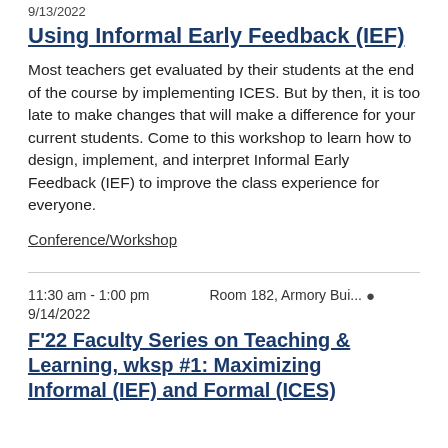9/13/2022
Using Informal Early Feedback (IEF)
Most teachers get evaluated by their students at the end of the course by implementing ICES. But by then, it is too late to make changes that will make a difference for your current students. Come to this workshop to learn how to design, implement, and interpret Informal Early Feedback (IEF) to improve the class experience for everyone.
Conference/Workshop
11:30 am - 1:00 pm    Room 182, Armory Bui...    9/14/2022
F'22 Faculty Series on Teaching & Learning, wksp #1: Maximizing Informal (IEF) and Formal (ICES)